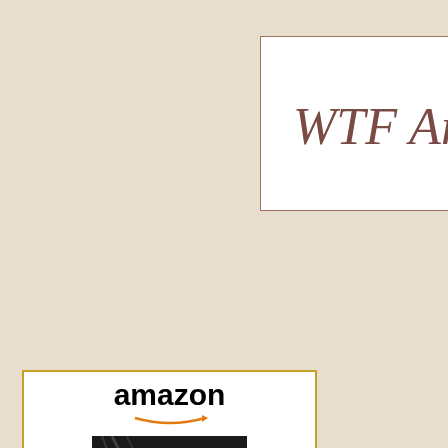[Figure (logo): Blog logo with cursive handwritten text reading 'WTF Are You Reading' on white background with dark reddish-brown border]
[Figure (other): Amazon widget showing book 'Revolution 19 (Revolution...)' priced at $14.92 with Amazon branding, book cover image, and 'Shop now' button]